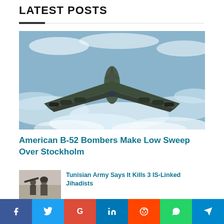LATEST POSTS
[Figure (photo): A B-52 Stratofortress bomber aircraft flying over clouds, viewed from above-front angle showing swept wings and multiple engines]
American B-52 Bombers Make Low Sweep Over Stockholm
[Figure (photo): Soldiers with military equipment, thumbnail image for secondary article]
Tunisian Army Says It Kills 3 IS-Linked Jihadists
f  y  G  in  (reddit)  (whatsapp)  (telegram)